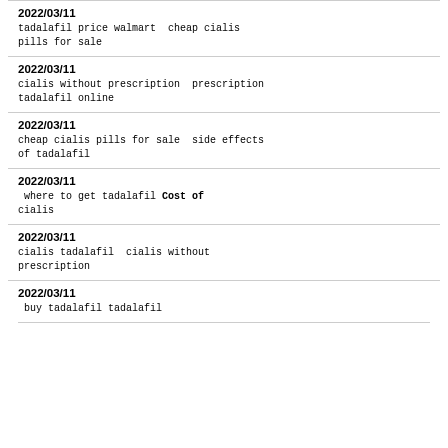2022/03/11
tadalafil price walmart  cheap cialis pills for sale
2022/03/11
cialis without prescription  prescription tadalafil online
2022/03/11
cheap cialis pills for sale  side effects of tadalafil
2022/03/11
where to get tadalafil  Cost of cialis
2022/03/11
cialis tadalafil  cialis without prescription
2022/03/11
buy tadalafil  tadalafil